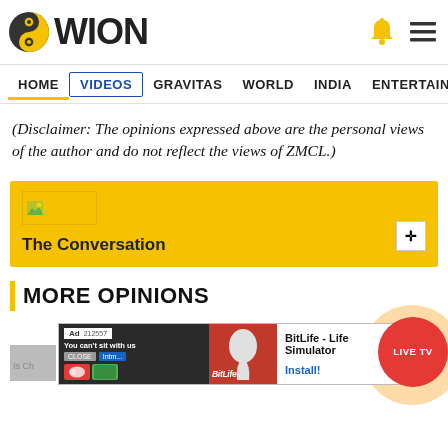[Figure (logo): WION news website header logo with circular yin-yang style icon in black and yellow, text 'WION', bell icon and hamburger menu on right]
HOME   VIDEOS   GRAVITAS   WORLD   INDIA   ENTERTAINMENT   SPORTS
(Disclaimer: The opinions expressed above are the personal views of the author and do not reflect the views of ZMCL.)
[Figure (screenshot): Yellow banner block with 'The Conversation' logo image placeholder and title text, with move/drag icon]
MORE OPINIONS
[Figure (screenshot): Bottom area showing partial article thumbnail, ad banner for BitLife Life Simulator with Install button, and red LIVE TV circular button]